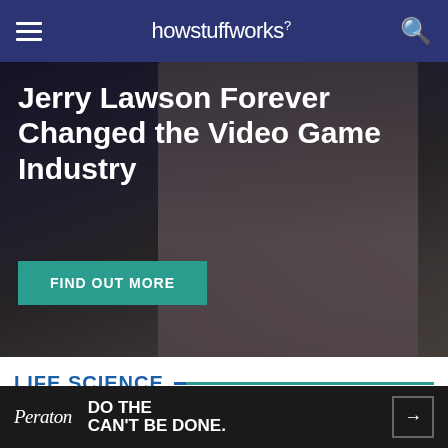howstuffworks
[Figure (photo): A man in a white shirt and dark tie smiling, shown in a dark-toned documentary style photograph. This is the hero image for a story about Jerry Lawson.]
Jerry Lawson Forever Changed the Video Game Industry
FIND OUT MORE
LIFE SCIENCE
From the smallest microbe to the largest mammal,
Peraton DO THE CAN'T BE DONE.